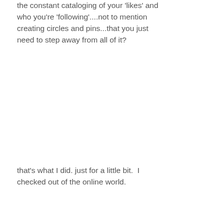the constant cataloging of your 'likes' and who you're 'following'....not to mention creating circles and pins...that you just need to step away from all of it?
that's what I did. just for a little bit.  I checked out of the online world.
[Figure (photo): A man wearing a camouflage cap and glasses, photographed outdoors with trees and blue sky in the background, viewed from the side/below.]